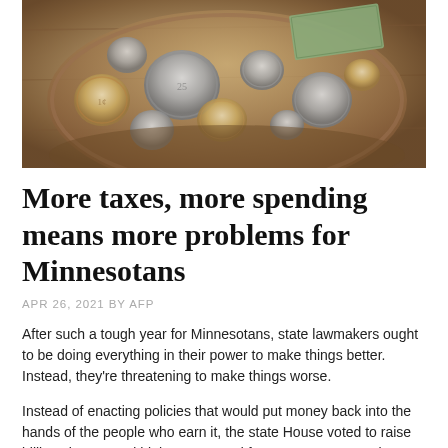[Figure (photo): A bowl or plate filled with various US coins (pennies, nickels, dimes, quarters) and a partial view of a paper bill, on a wooden surface.]
More taxes, more spending means more problems for Minnesotans
APR 26, 2021 BY AFP
After such a tough year for Minnesotans, state lawmakers ought to be doing everything in their power to make things better. Instead, they're threatening to make things worse.
Instead of enacting policies that would put money back into the hands of the people who earn it, the state House voted to raise billions in new and higher taxes and fees — gas taxes, sales taxes, tab fees, business taxes, and personal income taxes.
And it's not like state government needs the money. As Jason